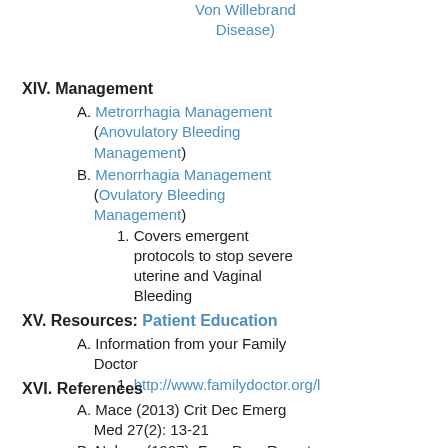Von Willebrand Disease)
XIV. Management
A. Metrorrhagia Management (Anovulatory Bleeding Management)
B. Menorrhagia Management (Ovulatory Bleeding Management)
1. Covers emergent protocols to stop severe uterine and Vaginal Bleeding
XV. Resources: Patient Education
A. Information from your Family Doctor
1. http://www.familydoctor.org/l
XVI. References
A. Mace (2013) Crit Dec Emerg Med 27(2): 13-21
B. Nelson (1997), Fam Prac Recert 19(8):14
C. Apgar (2013) Am Fam Physician 87(12): 836-43 [PubMed]
D. Bradley (2016) Obstet Gynecol